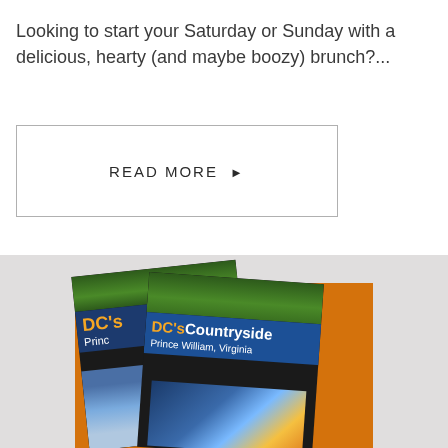Looking to start your Saturday or Sunday with a delicious, hearty (and maybe boozy) brunch?...
READ MORE ▶
[Figure (photo): Two copies of 'DC's Countryside, Prince William, Virginia' guidebook covers displayed on an orange background with a stone-textured gray surface behind them.]